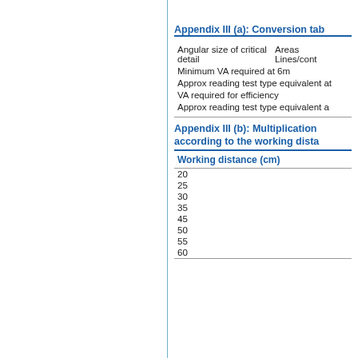Appendix III (a): Conversion tab
| Angular size of critical detail | Areas | Lines/cont |
| --- | --- | --- |
| Minimum VA required at 6m |  |  |
| Approx reading test type equivalent at |  |  |
| VA required for efficiency |  |  |
| Approx reading test type equivalent a |  |  |
Appendix III (b): Multiplication according to the working dista
| Working distance (cm) |
| --- |
| 20 |
| 25 |
| 30 |
| 35 |
| 45 |
| 50 |
| 55 |
| 60 |